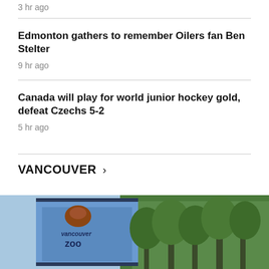3 hr ago
Edmonton gathers to remember Oilers fan Ben Stelter
9 hr ago
Canada will play for world junior hockey gold, defeat Czechs 5-2
5 hr ago
VANCOUVER >
[Figure (photo): Outdoor photo showing a Vancouver Zoo sign in front of trees]